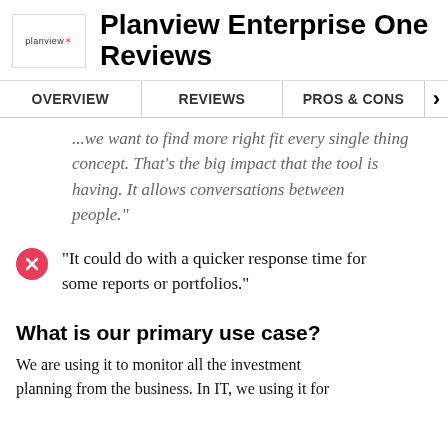Planview Enterprise One Reviews
OVERVIEW | REVIEWS | PROS & CONS
...we want to find more right fit every single concept. That's the big impact that the tool is having. It allows conversations between people."
"It could do with a quicker response time for some reports or portfolios."
What is our primary use case?
We are using it to monitor all the investment planning from the business. In IT, we using it for